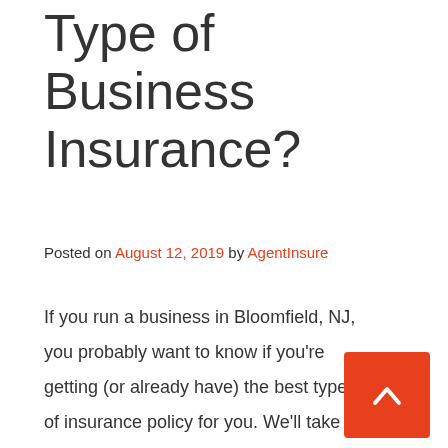Type of Business Insurance?
Posted on August 12, 2019 by AgentInsure
If you run a business in Bloomfield, NJ, you probably want to know if you're getting (or already have) the best type of insurance policy for you. We'll take you through a business owners